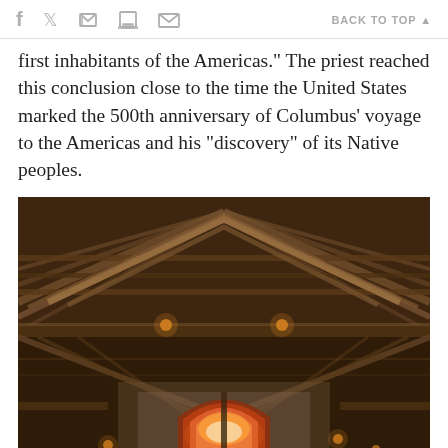f  [twitter]  [print]  [email]    BACK TO TOP ▲
first inhabitants of the Americas." The priest reached this conclusion close to the time the United States marked the 500th anniversary of Columbus' voyage to the Americas and his "discovery" of its Native peoples.
[Figure (photo): Interior view looking up at a wooden roof structure with exposed timber rafters in a tent or barn-like building. The upper portion shows a symmetrical peaked roof with horizontal beams and diagonal boards. The lower portion shows a second level with an arched window emitting a warm reddish-orange glow, and small lights mounted on the wooden beams.]